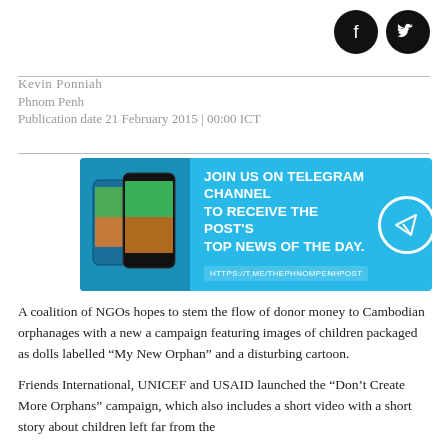[Figure (other): Social media icons: Facebook and Twitter circular black icons]
Kevin Ponniah
Phnom Penh
Publication date 21 February 2015 | 00:00 ICT
[Figure (infographic): Telegram channel advertisement banner with blue background, phone images, text 'JOIN US ON TELEGRAM CHANNEL TO RECEIVE THE POST'S TOP NEWS OF THE DAY.' and URL 'HTTPS://T.ME/THEPHNOMPENHPOST' with Telegram paper plane icon]
A coalition of NGOs hopes to stem the flow of donor money to Cambodian orphanages with a new a campaign featuring images of children packaged as dolls labelled “My New Orphan” and a disturbing cartoon.
Friends International, UNICEF and USAID launched the “Don’t Create More Orphans” campaign, which also includes a short video with a short story about children left far from the